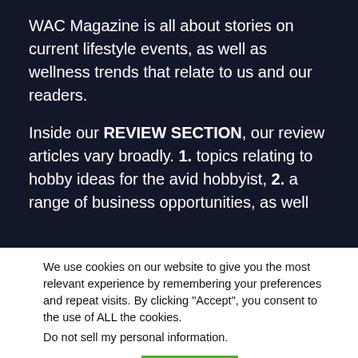WAC Magazine is all about stories on current lifestyle events, as well as wellness trends that relate to us and our readers.
Inside our REVIEW SECTION, our review articles vary broadly. 1. topics relating to hobby ideas for the avid hobbyist, 2. a range of business opportunities, as well
We use cookies on our website to give you the most relevant experience by remembering your preferences and repeat visits. By clicking “Accept”, you consent to the use of ALL the cookies.
Do not sell my personal information.
Cookie settings  ACCEPT